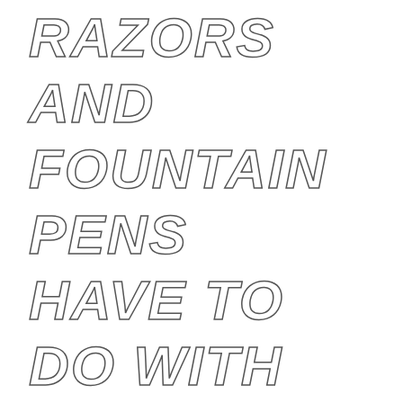WHAT STRAIGHT RAZORS AND FOUNTAIN PENS HAVE TO DO WITH THE WEDDING